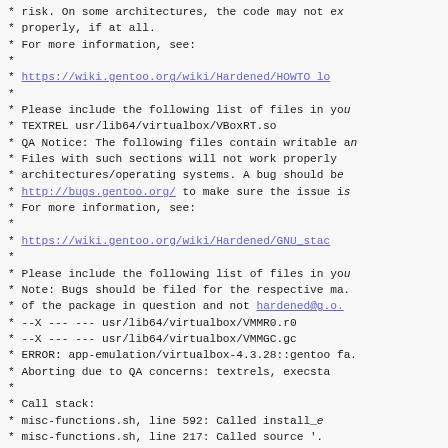* risk.  On some architectures, the code may not execute properly, if at all.
* For more information, see:
*
*     https://wiki.gentoo.org/wiki/Hardened/HOWTO lo...
*
* Please include the following list of files in your bug report:
* TEXTREL usr/lib64/virtualbox/VBoxRT.so
* QA Notice: The following files contain writable and executable sections
* Files with such sections will not work properly on
* architectures/operating systems.  A bug should be filed at
* http://bugs.gentoo.org/ to make sure the issue is fixed
* For more information, see:
*
*     https://wiki.gentoo.org/wiki/Hardened/GNU_stac...
*
* Please include the following list of files in your bug report:
* Note: Bugs should be filed for the respective ma...
* of the package in question and not hardened@g.o.
* --X --- --- usr/lib64/virtualbox/VMMR0.r0
* --X --- --- usr/lib64/virtualbox/VMMGC.gc
* ERROR: app-emulation/virtualbox-4.3.28::gentoo fa...
*   Aborting due to QA concerns:  textrels, execsta...
*
* Call stack:
*       misc-functions.sh, line 592:  Called install_...
*       misc-functions.sh, line 217:  Called source '...
*   10executable-issues, line 143:  Called elf_chec...
*   10executable-issues, line 138:  Called die
* The specific snippet of code: